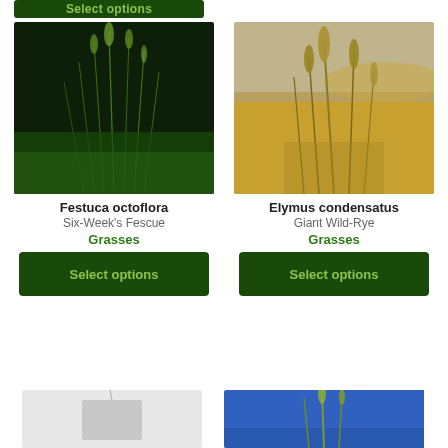[Figure (photo): Partial green button at top of page reading 'Select options']
[Figure (photo): Photo of Festuca octoflora (Six-Week's Fescue) grass plant against dark background]
Festuca octoflora
Six-Week's Fescue
Grasses
[Figure (photo): Photo of Elymus condensatus (Giant Wild-Rye) grass plant in dry golden field]
Elymus condensatus
Giant Wild-Rye
Grasses
[Figure (photo): Select options button for Festuca octoflora]
[Figure (photo): Select options button for Elymus condensatus]
[Figure (photo): Partial photo bottom-left, appears to show a small plant or seedling placeholder]
[Figure (photo): Partial photo bottom-right showing grass against blue sky]